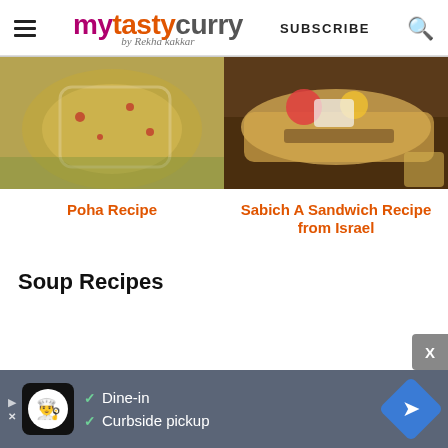mytastycurry by Rekha kakkar — SUBSCRIBE
[Figure (photo): Poha dish in a white bowl with yellow flattened rice, pomegranate seeds, and herbs]
[Figure (photo): Sabich sandwich with pita bread stuffed with eggplant, peppers, zucchini on dark plate]
Poha Recipe
Sabich A Sandwich Recipe from Israel
Soup Recipes
[Figure (other): Advertisement bar: Dine-in and Curbside pickup with chef logo]